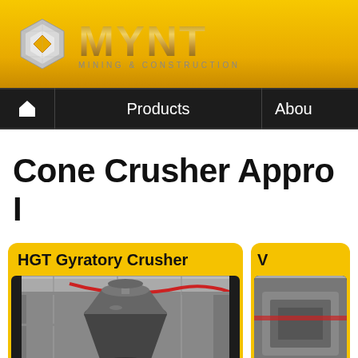[Figure (logo): MYNT Mining & Construction logo with hexagonal icon and metallic gold MYNT text]
Products | About
Cone Crusher Appro I
HGT Gyratory Crusher
[Figure (photo): Photo of an HGT Gyratory Crusher in an industrial facility]
[Figure (photo): Partially visible second product card photo]